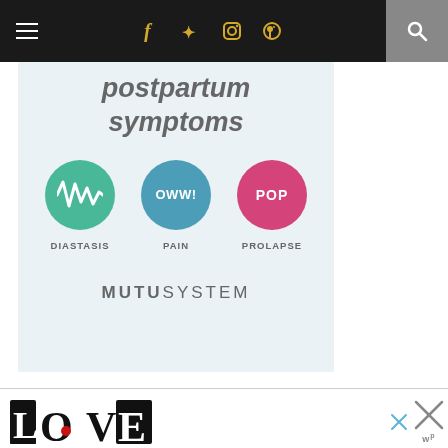Navigation bar with menu, social icons (Facebook, Twitter, Instagram, Pinterest), and search
[Figure (infographic): Postpartum symptoms infographic showing three circles labeled DIASTASIS (green with zigzag), PAIN (blue with OWW! text), and PROLAPSE (pink with POP text), with MUTU SYSTEM branding below]
[Figure (logo): LOVE decorative text logo with intricate black and white pattern, with a small red heart accent]
[Figure (other): Close button icons with blue X and gray X with W superscript logo]